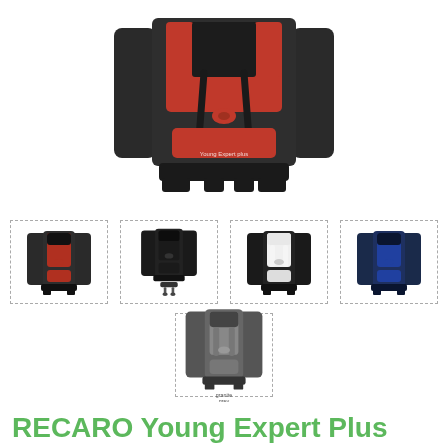[Figure (photo): Front view of RECARO Young Expert Plus child car seat in black and red upholstery, shown from above, with five-point harness and base visible]
[Figure (photo): Thumbnail: RECARO Young Expert Plus in red/black color variant]
[Figure (photo): Thumbnail: RECARO Young Expert Plus in black color variant, shown with ISOFIX base]
[Figure (photo): Thumbnail: RECARO Young Expert Plus in black/white color variant]
[Figure (photo): Thumbnail: RECARO Young Expert Plus in blue/black color variant]
[Figure (photo): Thumbnail: RECARO Young Expert Plus in granite grey color variant]
RECARO Young Expert Plus